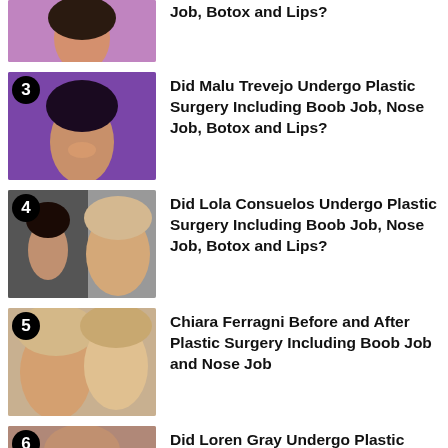Job, Botox and Lips?
3 Did Malu Trevejo Undergo Plastic Surgery Including Boob Job, Nose Job, Botox and Lips?
4 Did Lola Consuelos Undergo Plastic Surgery Including Boob Job, Nose Job, Botox and Lips?
5 Chiara Ferragni Before and After Plastic Surgery Including Boob Job and Nose Job
6 Did Loren Gray Undergo Plastic Surgery Including Boob Job, Nose Job...